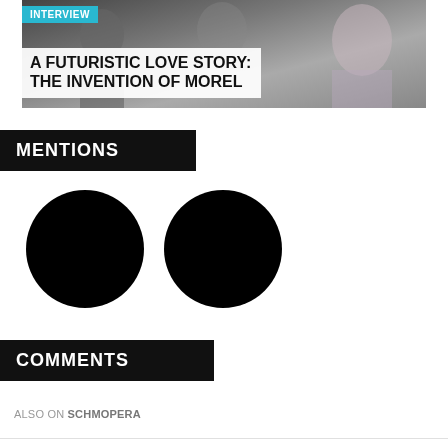[Figure (photo): Hero image for interview article showing people in decorative/floral clothing with overlay text]
A FUTURISTIC LOVE STORY: THE INVENTION OF MOREL
MENTIONS
[Figure (illustration): Two large black filled circles representing redacted or placeholder user avatar icons]
COMMENTS
ALSO ON SCHMOPERA